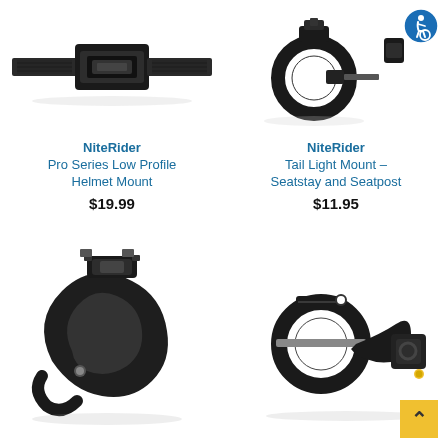[Figure (photo): NiteRider Pro Series Low Profile Helmet Mount - black strap helmet mount product photo]
NiteRider
Pro Series Low Profile Helmet Mount
$19.99
[Figure (photo): NiteRider Tail Light Mount Seatstay and Seatpost - black ring clamp mount product photo with accessibility icon badge]
NiteRider
Tail Light Mount – Seatstay and Seatpost
$11.95
[Figure (photo): NiteRider handlebar mount clamp - black plastic clamp product photo, bottom left]
[Figure (photo): NiteRider handlebar mount - black plastic ring mount product photo, bottom right]